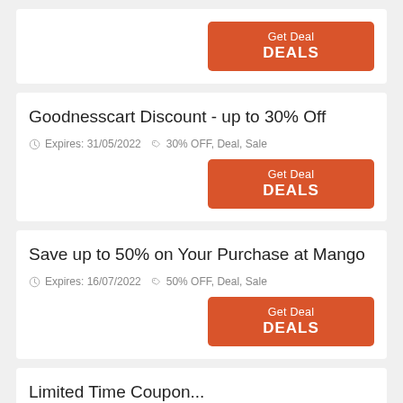[Figure (other): Get Deal DEALS button (top card, partial)]
Goodnesscart Discount - up to 30% Off
Expires: 31/05/2022  30% OFF, Deal, Sale
[Figure (other): Get Deal DEALS button]
Save up to 50% on Your Purchase at Mango
Expires: 16/07/2022  50% OFF, Deal, Sale
[Figure (other): Get Deal DEALS button]
Limited Time Coupon...